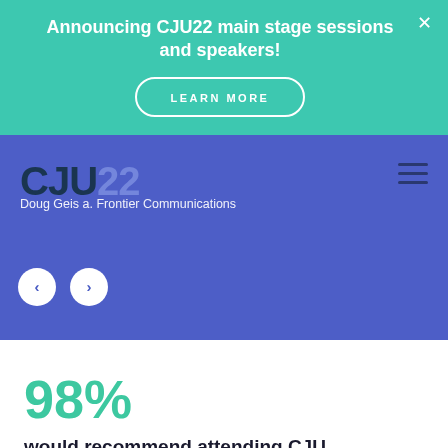Announcing CJU22 main stage sessions and speakers!
LEARN MORE
[Figure (screenshot): CJU22 conference website hero section with logo, subtitle 'Doug Geis a. Frontier Communications', navigation arrows, and hamburger menu on purple/blue background]
98%
would recommend attending CJU